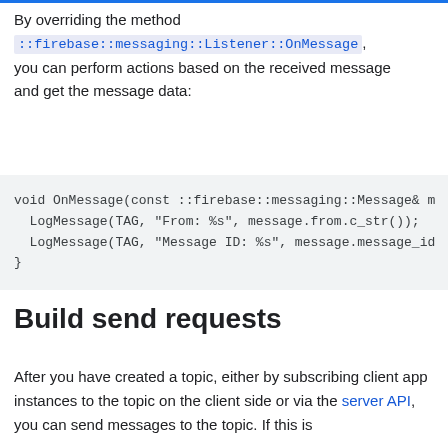By overriding the method ::firebase::messaging::Listener::OnMessage, you can perform actions based on the received message and get the message data:
void OnMessage(const ::firebase::messaging::Message& m
  LogMessage(TAG, "From: %s", message.from.c_str());
  LogMessage(TAG, "Message ID: %s", message.message_id
}
Build send requests
After you have created a topic, either by subscribing client app instances to the topic on the client side or via the server API, you can send messages to the topic. If this is